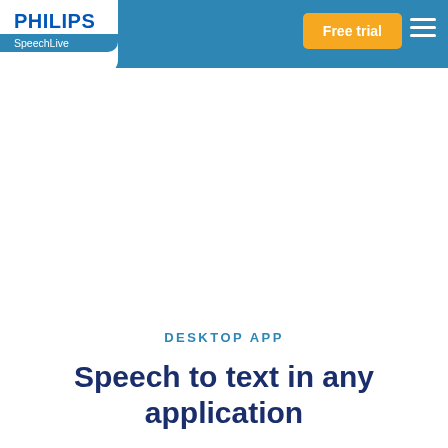[Figure (logo): Philips SpeechLive logo — white block with 'PHILIPS' in blue bold text and 'SpeechLive' in white on blue background]
Free trial
[Figure (other): Hamburger menu icon (three horizontal white lines)]
DESKTOP APP
Speech to text in any application